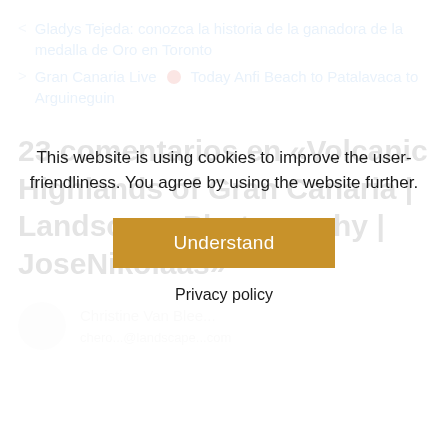< Gladys Tejeda: conozca la historia de la ganadora de la medalla de Oro en Toronto
> Gran Canaria Live • Today Anfi Beach to Patalavaca to Arguineguin
23 comentarios en «Volcanic Highlands of Gran Canaria | Landscape Photography | JoseNikolaas»
This website is using cookies to improve the user-friendliness. You agree by using the website further.
Understand
Privacy policy